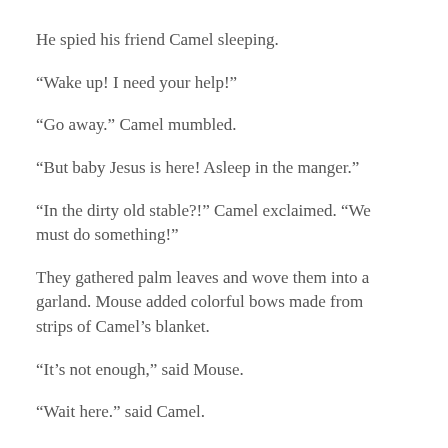He spied his friend Camel sleeping.
“Wake up! I need your help!”
“Go away.” Camel mumbled.
“But baby Jesus is here! Asleep in the manger.”
“In the dirty old stable?!” Camel exclaimed. “We must do something!”
They gathered palm leaves and wove them into a garland. Mouse added colorful bows made from strips of Camel’s blanket.
“It’s not enough,” said Mouse.
“Wait here.” said Camel.
Soon, he returned with a beautiful lantern held carefully between his